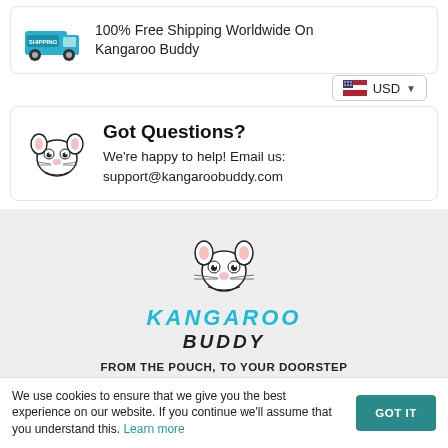100% Free Shipping Worldwide On Kangaroo Buddy
[Figure (illustration): Teal delivery truck with SHIPPING label on side]
[Figure (illustration): US flag icon and USD currency selector dropdown]
[Figure (illustration): Kangaroo/mouse cartoon face icon]
Got Questions?
We're happy to help! Email us: support@kangaroobuddy.com
[Figure (logo): Kangaroo Buddy logo: cartoon kangaroo face with KANGAROO BUDDY text]
FROM THE POUCH, TO YOUR DOORSTEP
We use cookies to ensure that we give you the best experience on our website. If you continue we'll assume that you understand this. Learn more